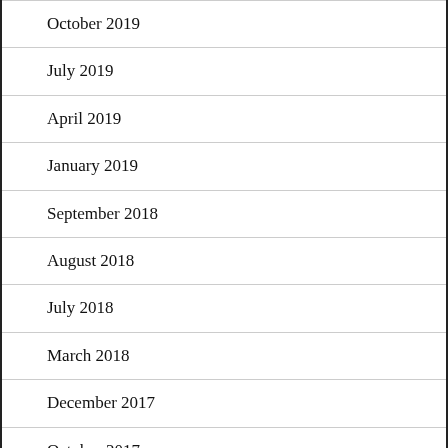October 2019
July 2019
April 2019
January 2019
September 2018
August 2018
July 2018
March 2018
December 2017
October 2017